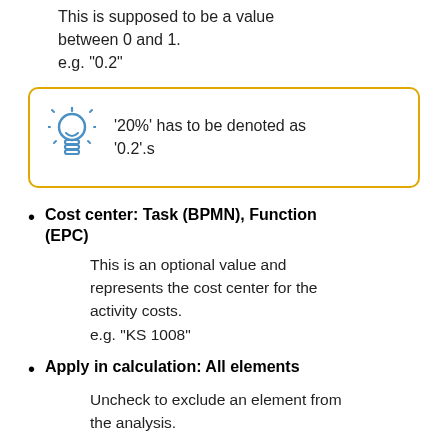This is supposed to be a value between 0 and 1.
e.g. "0.2"
'20%' has to be denoted as '0.2'.s
Cost center: Task (BPMN), Function (EPC)
This is an optional value and represents the cost center for the activity costs.
e.g. "KS 1008"
Apply in calculation: All elements
Uncheck to exclude an element from the analysis.